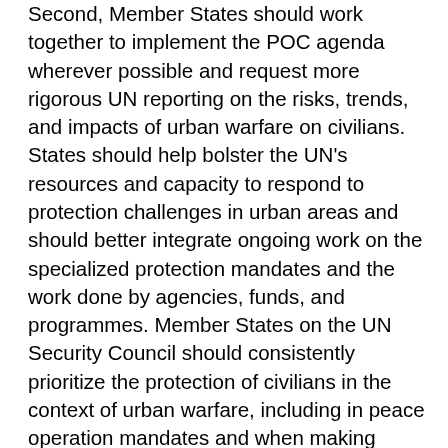Second, Member States should work together to implement the POC agenda wherever possible and request more rigorous UN reporting on the risks, trends, and impacts of urban warfare on civilians. States should help bolster the UN's resources and capacity to respond to protection challenges in urban areas and should better integrate ongoing work on the specialized protection mandates and the work done by agencies, funds, and programmes. Member States on the UN Security Council should consistently prioritize the protection of civilians in the context of urban warfare, including in peace operation mandates and when making decisions about sanctions regimes. The Council should also quickly and unequivocally condemn violations of IHL that result in harm to civilians and civilian infrastructure, and ensure accountability, as well as use its influence to engage with conflict parties to prevent, reduce, mitigate, and respond to civilian harm. Permanent members should commit to suspending the use of the veto to block measures aimed